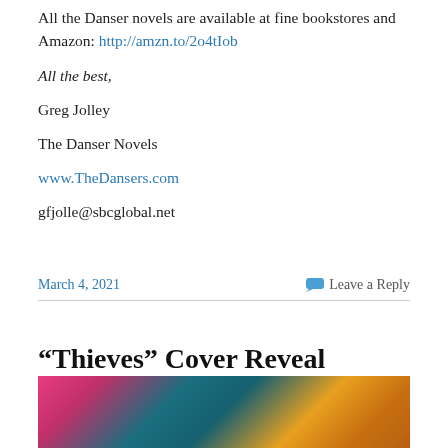All the Danser novels are available at fine bookstores and Amazon: http://amzn.to/2o4tIob
All the best,
Greg Jolley
The Danser Novels
www.TheDansers.com
gfjolle@sbcglobal.net
March 4, 2021   Leave a Reply
“Thieves” Cover Reveal
[Figure (photo): Colorful decorative image strip with pink flowers and yellow/teal pattern]